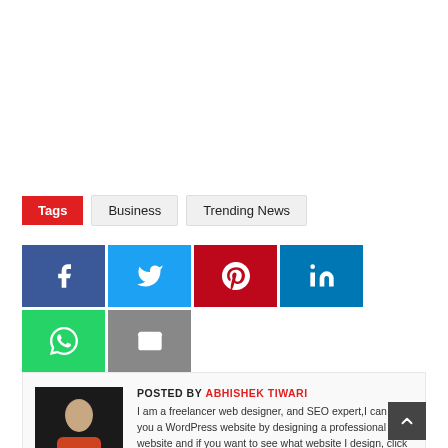Tags  Business  Trending News
[Figure (infographic): Row of social share buttons: Facebook (dark blue, f icon), Twitter (light blue, bird icon), Pinterest (red, P icon), LinkedIn (blue, in icon), WhatsApp (green, phone icon), Email (grey, envelope icon)]
POSTED BY ABHISHEK TIWARI
I am a freelancer web designer, and SEO expert,I can give you a WordPress website by designing a professional website and if you want to see what website I design, click